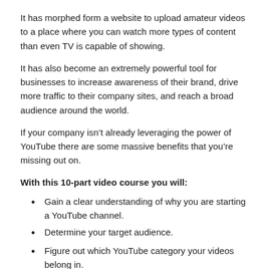It has morphed form a website to upload amateur videos to a place where you can watch more types of content than even TV is capable of showing.
It has also become an extremely powerful tool for businesses to increase awareness of their brand, drive more traffic to their company sites, and reach a broad audience around the world.
If your company isn’t already leveraging the power of YouTube there are some massive benefits that you’re missing out on.
With this 10-part video course you will:
Gain a clear understanding of why you are starting a YouTube channel.
Determine your target audience.
Figure out which YouTube category your videos belong in.
Figure out how to properly optimize your YouTube channel to rank higher in searches.